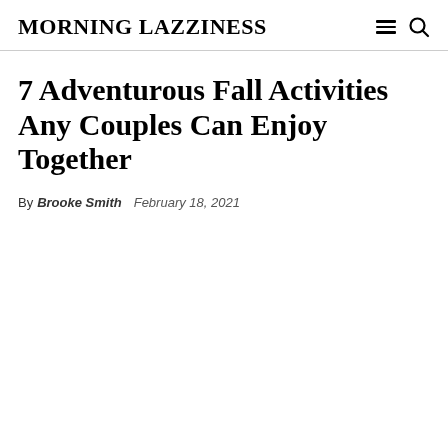MORNING LAZZINESS
7 Adventurous Fall Activities Any Couples Can Enjoy Together
By Brooke Smith   February 18, 2021